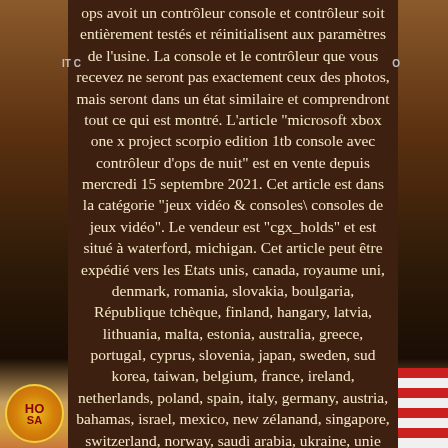ops avoit un contrôleur console et contrôleur soit entièrement testés et réinitialisent aux paramètres de l'usine. La console et le contrôleur que vous recevez ne seront pas exactement ceux des photos, mais seront dans un état similaire et comprendront tout ce qui est montré. L'article "microsoft xbox one x project scorpio edition 1tb console avec contrôleur d'ops de nuit" est en vente depuis mercredi 15 septembre 2021. Cet article est dans la catégorie "jeux vidéo & consoles\ consoles de jeux vidéo". Le vendeur est "cgx_holds" et est situé à waterford, michigan. Cet article peut être expédié vers les Etats unis, canada, royaume uni, denmark, romania, slovakia, boulgaria, République tchèque, finland, hangary, latvia, lithuania, malta, estonia, australia, greece, portugal, cyprus, slovenia, japan, sweden, sud korea, taiwan, belgium, france, ireland, netherlands, poland, spain, italy, germany, austria, bahamas, israel, mexico, new zélanand, singapore, switzerland, norway, saudi arabia, ukraine, unie arab emirates, qatar, kowait, bahrain, braatia, malaysia, chile, colombia, gusera rica, panama, guatemala, honduras, towna, towna, towna, towna, towna, towna, towna, town, town, town, town town town town, town, town town town town town town town town town, town town town town town town town town town, town town town town town town town town town town